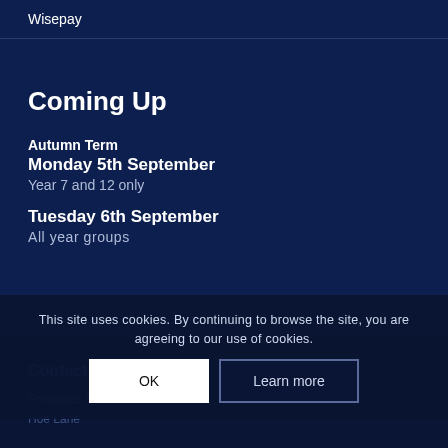Wisepay
Coming Up
Autumn Term
Monday 5th September
Year 7 and 12 only
Tuesday 6th September
All year groups
Contact Us
Presdales Schoo
Hoe Lane
This site uses cookies. By continuing to browse the site, you are agreeing to our use of cookies.